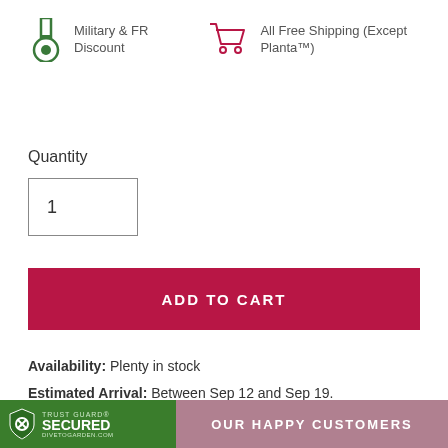[Figure (illustration): Medal/military icon with green color representing Military & FR Discount]
Military & FR Discount
[Figure (illustration): Shopping cart icon representing All Free Shipping (Except Planta™)]
All Free Shipping (Except Planta™)
Quantity
1
ADD TO CART
Availability: Plenty in stock
Estimated Arrival: Between Sep 12 and Sep 19.
TRUST GUARD SECURED DIVETOGARDEN.COM
OUR HAPPY CUSTOMERS